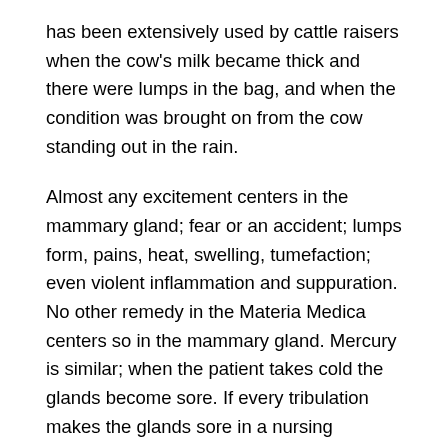has been extensively used by cattle raisers when the cow's milk became thick and there were lumps in the bag, and when the condition was brought on from the cow standing out in the rain.
Almost any excitement centers in the mammary gland; fear or an accident; lumps form, pains, heat, swelling, tumefaction; even violent inflammation and suppuration. No other remedy in the Materia Medica centers so in the mammary gland. Mercury is similar; when the patient takes cold the glands become sore. If every tribulation makes the glands sore in a nursing woman, give her Phytolacca. When a mother says she has no milk, or that the milk is scanty, thick, unhealthy; dries up soon; Phytolacca becomes then a constitutional remedy if there are no contraindicating symptoms. A bloody watery discharge which continued for five years after weaning the infant was cured by Phyto. The breast is so sore that, when she nurses the child, she almost